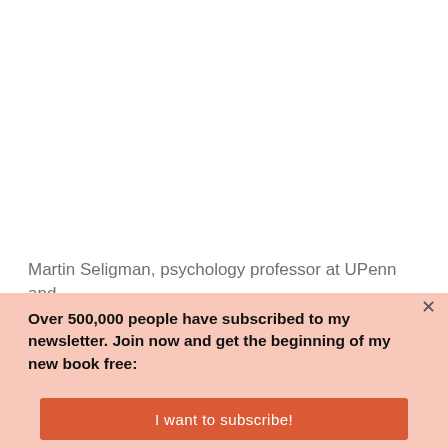Martin Seligman, psychology professor at UPenn and
Over 500,000 people have subscribed to my newsletter. Join now and get the beginning of my new book free:
I want to subscribe!